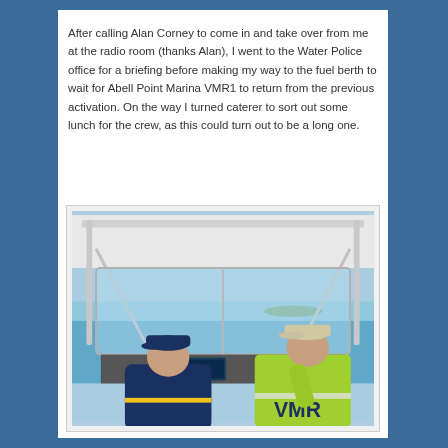After calling Alan Corney to come in and take over from me at the radio room (thanks Alan), I went to the Water Police office for a briefing before making my way to the fuel berth to wait for Abell Point Marina VMR1 to return from the previous activation. On the way I turned caterer to sort out some lunch for the crew, as this could turn out to be a long one.
[Figure (photo): Two people seen from behind on a boat, one wearing a yellow-green VMR vest and light cap at the helm, another in a blue jacket and dark cap. The boat's windscreen and ocean vista with light blue water and sky are visible.]